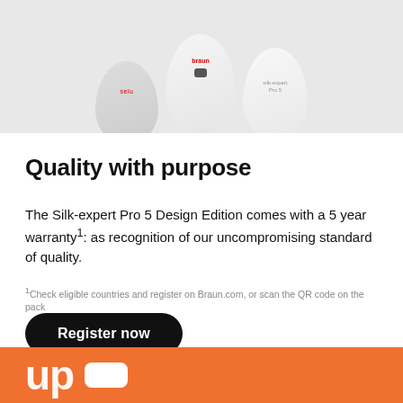[Figure (photo): Product photo showing multiple Braun Silk-expert Pro 5 Design Edition devices in white/grey colors against a light grey background, cropped at top showing only the upper portions of the devices]
Quality with purpose
The Silk-expert Pro 5 Design Edition comes with a 5 year warranty¹: as recognition of our uncompromising standard of quality.
¹Check eligible countries and register on Braun.com, or scan the QR code on the pack
Register now
[Figure (illustration): Orange/coral background section at the bottom with large white text beginning with 'up' and a white rounded rectangle shape, partially visible]